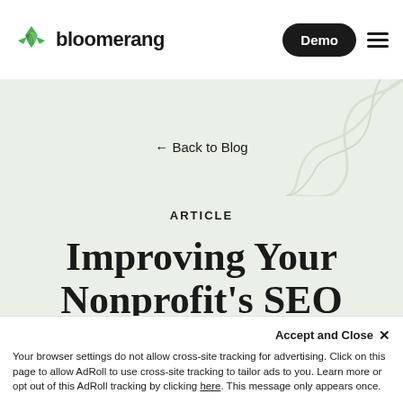bloomerang | Demo
← Back to Blog
ARTICLE
Improving Your Nonprofit's SEO Results To Stand Out The
Accept and Close ×
Your browser settings do not allow cross-site tracking for advertising. Click on this page to allow AdRoll to use cross-site tracking to tailor ads to you. Learn more or opt out of this AdRoll tracking by clicking here. This message only appears once.